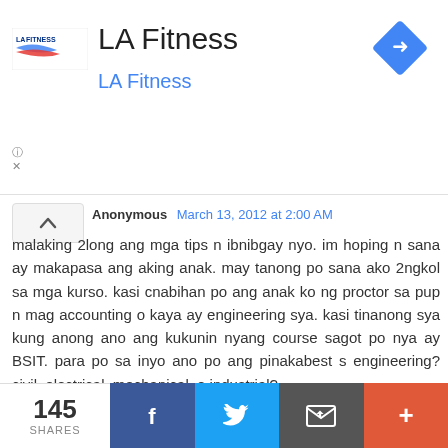[Figure (logo): LA Fitness advertisement banner with logo, name, subtitle in blue, and a blue direction sign icon on the right]
Anonymous March 13, 2012 at 2:00 AM
malaking 2long ang mga tips n ibnibgay nyo. im hoping n sana ay makapasa ang aking anak. may tanong po sana ako 2ngkol sa mga kurso. kasi cnabihan po ang anak ko ng proctor sa pup n mag accounting o kaya ay engineering sya. kasi tinanong sya kung anong ano ang kukunin nyang course sagot po nya ay BSIT. para po sa inyo ano po ang pinakabest s engineering? civil, electrical, mechanical, o industrial?
Reply
Ishmael F. Ahab  March 19, 2012 at 8:32 AM
Magandang araw po sa inyo Anonymous.
145 SHARES  [Facebook] [Twitter] [Email] [More]